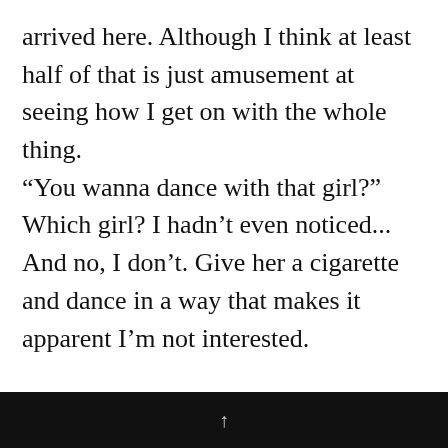arrived here.  Although I think at least half of that is just amusement at seeing how I get on with the whole thing.
“You wanna dance with that girl?” Which girl?  I hadn’t even noticed... And no, I don’t.  Give her a cigarette and dance in a way that makes it apparent I’m not interested.

This tactic does not work with prostitutes, it later becomes clear.

At this point, I’m suspicious of everyone (female) in the room, so I’m figuring that discretion is the better part of valour.  And
↑